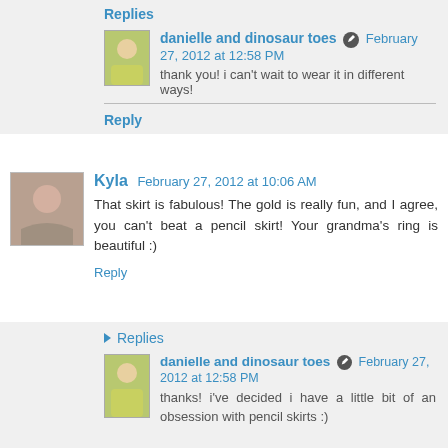Replies
danielle and dinosaur toes  February 27, 2012 at 12:58 PM
thank you! i can't wait to wear it in different ways!
Reply
Kyla  February 27, 2012 at 10:06 AM
That skirt is fabulous! The gold is really fun, and I agree, you can't beat a pencil skirt! Your grandma's ring is beautiful :)
Reply
Replies
danielle and dinosaur toes  February 27, 2012 at 12:58 PM
thanks! i've decided i have a little bit of an obsession with pencil skirts :)